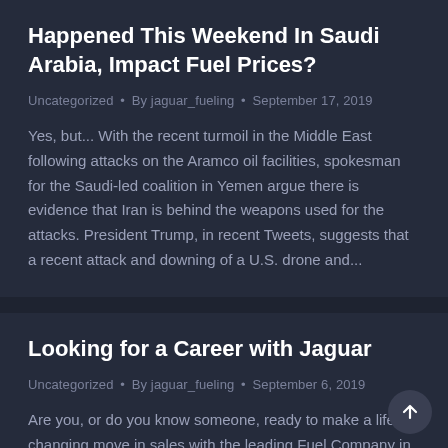Happened This Weekend In Saudi Arabia, Impact Fuel Prices?
Uncategorized • By jaguar_fueling • September 17, 2019
Yes, but... With the recent turmoil in the Middle East following attacks on the Aramco oil facilities, spokesman for the Saudi-led coalition in Yemen argue there is evidence that Iran is behind the weapons used for the attacks. President Trump, in recent Tweets, suggests that a recent attack and downing of a U.S. drone and...
Looking for a Career with Jaguar
Uncategorized • By jaguar_fueling • September 6, 2019
Are you, or do you know someone, ready to make a life-changing move in sales with the leading Fuel Company in the Industry? Working with Jaguar Fueling...